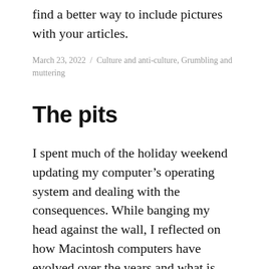find a better way to include pictures with your articles.
March 23, 2022 / Culture and anti-culture, Grumbling and muttering
The pits
I spent much of the holiday weekend updating my computer's operating system and dealing with the consequences. While banging my head against the wall, I reflected on how Macintosh computers have evolved over the years and what is likely in the future. If Apple continues naming its operating systems after places in